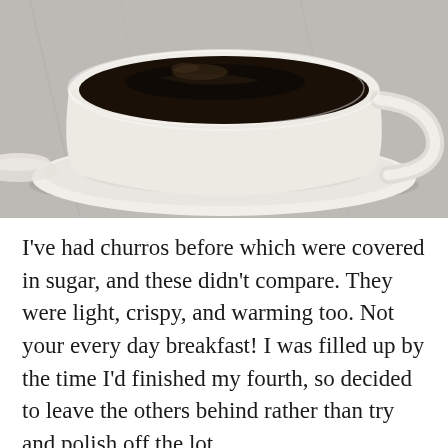[Figure (photo): Close-up photo of a white ceramic coffee cup filled with dark black coffee, sitting on a white saucer, on a light marble or grey surface.]
I've had churros before which were covered in sugar, and these didn't compare. They were light, crispy, and warming too. Not your every day breakfast! I was filled up by the time I'd finished my fourth, so decided to leave the others behind rather than try and polish off the lot.